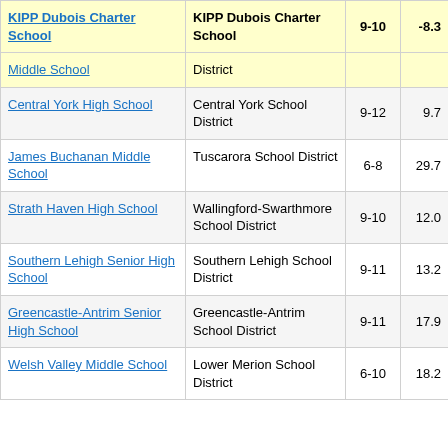| School | District | Grades | Score |
| --- | --- | --- | --- |
| KIPP Dubois Charter School | KIPP Dubois Charter School | 9-10 | -8.3 |
| Middle School | District |  |  |
| Central York High School | Central York School District | 9-12 | 9.7 |
| James Buchanan Middle School | Tuscarora School District | 6-8 | 29.7 |
| Strath Haven High School | Wallingford-Swarthmore School District | 9-10 | 12.0 |
| Southern Lehigh Senior High School | Southern Lehigh School District | 9-11 | 13.2 |
| Greencastle-Antrim Senior High School | Greencastle-Antrim School District | 9-11 | 17.9 |
| Welsh Valley Middle School | Lower Merion School District | 6-10 | 18.2 |